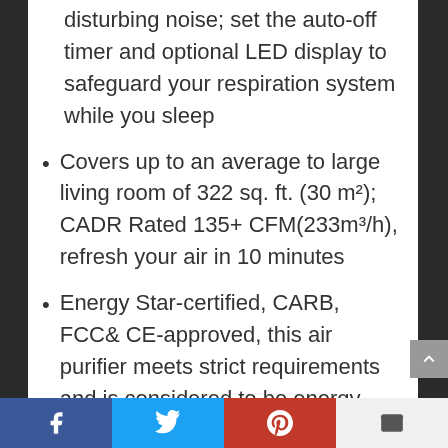disturbing noise; set the auto-off timer and optional LED display to safeguard your respiration system while you sleep
Covers up to an average to large living room of 322 sq. ft. (30 m²); CADR Rated 135+ CFM(233m³/h), refresh your air in 10 minutes
Energy Star-certified, CARB, FCC& CE-approved, this air purifier meets strict requirements and is considered to be energy-saving, and quality-assured
1-year buyer assurance (with a free